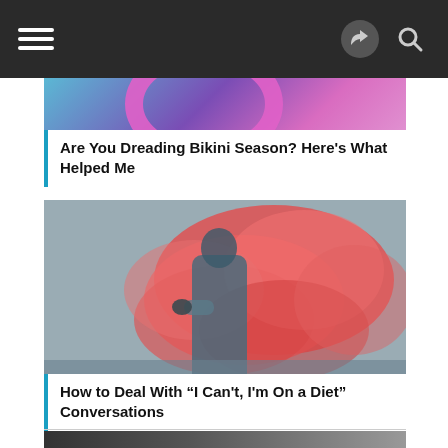Navigation bar with hamburger menu, share icon, and search icon
[Figure (photo): Partial image of a person with pink/purple circular object on teal blue background — top article image]
Are You Dreading Bikini Season? Here’s What Helped Me
[Figure (photo): Person holding a red/pink smoke bomb, surrounded by billowing colored smoke, outdoors]
How to Deal With “I Can’t, I’m On a Diet” Conversations
[Figure (photo): Bottom partial image strip, dark/grey tones — next article preview]